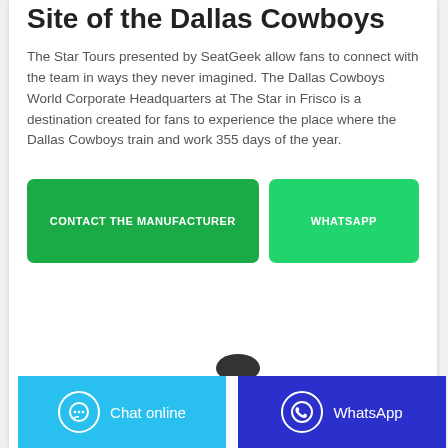Site of the Dallas Cowboys
The Star Tours presented by SeatGeek allow fans to connect with the team in ways they never imagined. The Dallas Cowboys World Corporate Headquarters at The Star in Frisco is a destination created for fans to experience the place where the Dallas Cowboys train and work 355 days of the year.
[Figure (other): Two CTA buttons: 'CONTACT THE MANUFACTURER' (dark green) and 'WHATSAPP' (light green)]
Chat online   WhatsApp